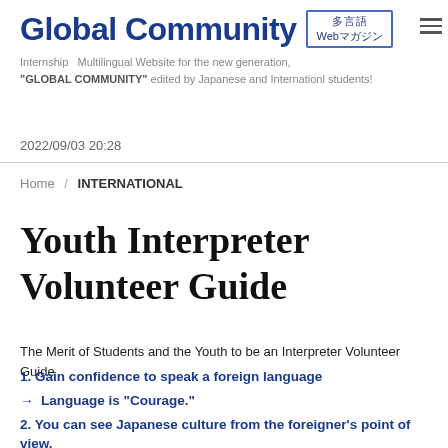Global Community 多言語 Webマガジン — Internship Multilingual Website for the new generation, "GLOBAL COMMUNITY" edited by Japanese and Internationl students!
2022/09/03 20:28
Home / INTERNATIONAL
Youth Interpreter Volunteer Guide
The Merit of Students and the Youth to be an Interpreter Volunteer Guide
1. Gain confidence to speak a foreign language
→  Language is "Courage."
2. You can see Japanese culture from the foreigner's point of view.